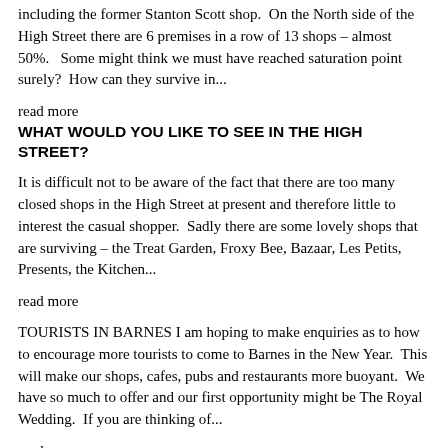including the former Stanton Scott shop.  On the North side of the High Street there are 6 premises in a row of 13 shops – almost 50%.   Some might think we must have reached saturation point surely?  How can they survive in...
read more
WHAT WOULD YOU LIKE TO SEE IN THE HIGH STREET?
It is difficult not to be aware of the fact that there are too many closed shops in the High Street at present and therefore little to interest the casual shopper.  Sadly there are some lovely shops that are surviving – the Treat Garden, Froxy Bee, Bazaar, Les Petits, Presents, the Kitchen...
read more
TOURISTS IN BARNES I am hoping to make enquiries as to how to encourage more tourists to come to Barnes in the New Year.  This will make our shops, cafes, pubs and restaurants more buoyant.  We have so much to offer and our first opportunity might be The Royal Wedding.  If you are thinking of...
read more
A NEW SUPERMARKET IN THE HIGH STREET. Plans have been submitted for a mixed retail, residential and office...